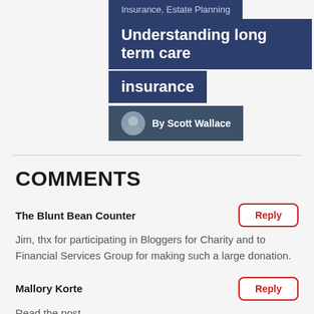Insurance, Estate Planning
Understanding long term care insurance
By Scott Wallace
COMMENTS
The Blunt Bean Counter
Jim, thx for participating in Bloggers for Charity and to Financial Services Group for making such a large donation.
Mallory Korte
Read the post